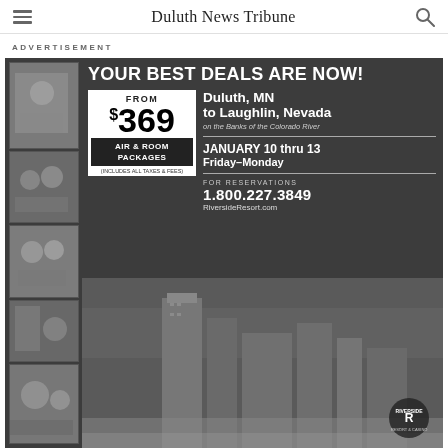Duluth News Tribune
ADVERTISEMENT
[Figure (infographic): Advertisement for Riverside Resort in Laughlin, Nevada. Features photos of casino guests and a city skyline. Text reads: YOUR BEST DEALS ARE NOW! FROM $369 AIR & ROOM PACKAGES (INCLUDES ALL TAXES & FEES). Duluth, MN to Laughlin, Nevada on the Banks of the Colorado River. JANUARY 10 thru 13 Friday–Monday. FOR RESERVATIONS 1.800.227.3849 RiversideResort.com]